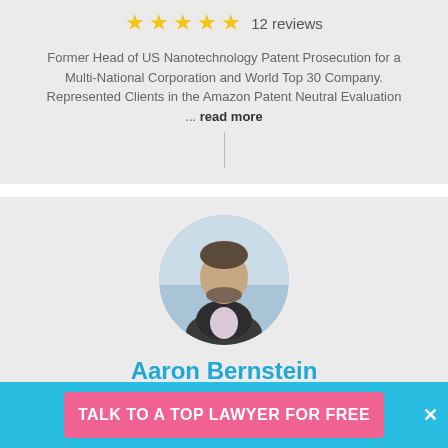★★★★★  12 reviews
Former Head of US Nanotechnology Patent Prosecution for a Multi-National Corporation and World Top 30 Company. Represented Clients in the Amazon Patent Neutral Evaluation … read more
[Figure (photo): Circular profile photo of Aaron Bernstein, a man in a dark suit with light shirt, blurred blue/white background]
Aaron Bernstein
★★★★★  11 reviews
TALK TO A TOP LAWYER FOR FREE